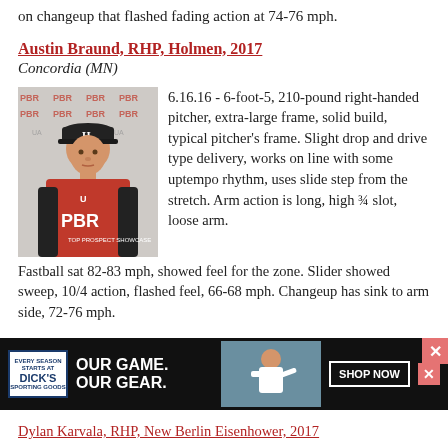on changeup that flashed fading action at 74-76 mph.
Austin Braund, RHP, Holmen, 2017
Concordia (MN)
[Figure (photo): Austin Braund in a red PBR uniform standing in front of a PBR backdrop]
6.16.16 - 6-foot-5, 210-pound right-handed pitcher, extra-large frame, solid build, typical pitcher's frame. Slight drop and drive type delivery, works on line with some uptempo rhythm, uses slide step from the stretch. Arm action is long, high ¾ slot, loose arm. Fastball sat 82-83 mph, showed feel for the zone. Slider showed sweep, 10/4 action, flashed feel, 66-68 mph. Changeup has sink to arm side, 72-76 mph.
[Figure (photo): Dick's Sporting Goods advertisement banner]
Dylan Karvala, RHP, New Berlin Eisenhower, 2017